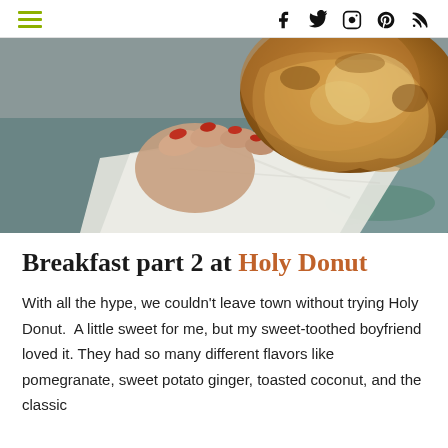≡  f  t  Instagram  Pinterest  RSS
[Figure (photo): A hand with red nail polish holding a rustic artisan donut or pastry wrapped in white parchment paper, over a tray.]
Breakfast part 2 at Holy Donut
With all the hype, we couldn't leave town without trying Holy Donut.  A little sweet for me, but my sweet-toothed boyfriend loved it. They had so many different flavors like pomegranate, sweet potato ginger, toasted coconut, and the classic